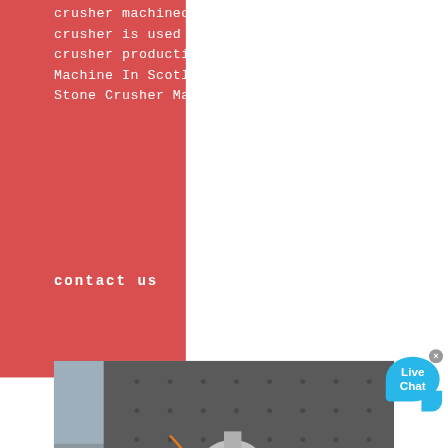crusher machinecone crusherimpact a cone crusher is used for 700th 800 th for quarry crusher production 800th Stone Sand Making Machine In Scotland best stone crusher. Stone Crusher Made In Japan Alanglovercoza
contact us
[Figure (photo): Worker in red hard hat and dark uniform working on industrial machinery (crusher/mill equipment), photographed from above. AMC logo visible in lower right of image.]
Live Chat
general equipmen Tminot
385 tph Screen crusher Gabon
how to manufacture crusher